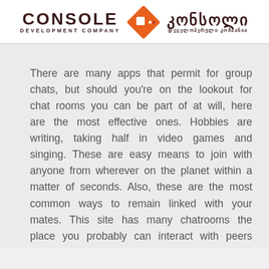[Figure (logo): Console Development Company logo with orange diamond/arrow icon, English and Georgian text]
There are many apps that permit for group chats, but should you're on the lookout for chat rooms you can be part of at will, here are the most effective ones. Hobbies are writing, taking half in video games and singing. These are easy means to join with anyone from wherever on the planet within a matter of seconds. Also, these are the most common ways to remain linked with your mates. This site has many chatrooms the place you probably can interact with peers and unknowns. There can additionally be as per country division for chat room so you select as per your alternative. Countless folks have